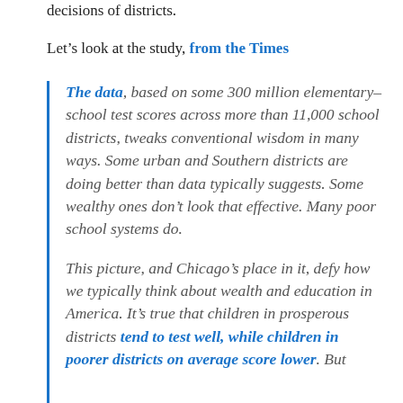decisions of districts.
Let's look at the study, from the Times
The data, based on some 300 million elementary-school test scores across more than 11,000 school districts, tweaks conventional wisdom in many ways. Some urban and Southern districts are doing better than data typically suggests. Some wealthy ones don't look that effective. Many poor school systems do.

This picture, and Chicago's place in it, defy how we typically think about wealth and education in America. It's true that children in prosperous districts tend to test well, while children in poorer districts on average score lower. But